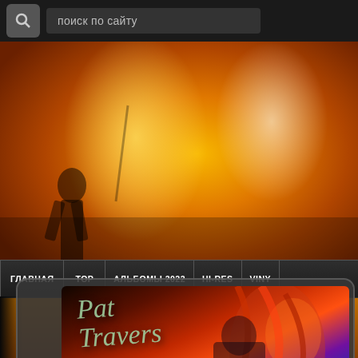[Figure (screenshot): Website screenshot showing a Russian music site with search bar at top reading 'поиск по сайту', an orange-toned concert photo background, a dark navigation bar with menu items ГЛАВНАЯ, TOP, АЛЬБОМЫ 2022, HI-RES, VINY, and a tablet/album viewer showing a Pat Travers album cover with a play button.]
поиск по сайту
ГЛАВНАЯ  TOP  АЛЬБОМЫ 2022  HI-RES  VINY